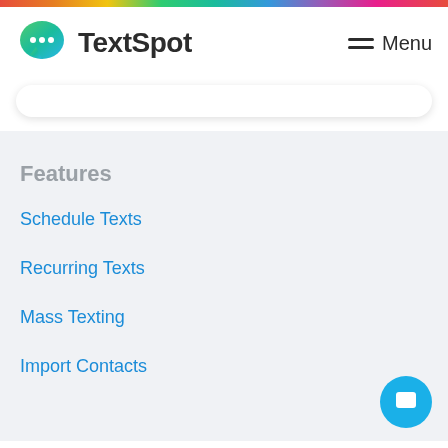TextSpot — Menu
Features
Schedule Texts
Recurring Texts
Mass Texting
Import Contacts